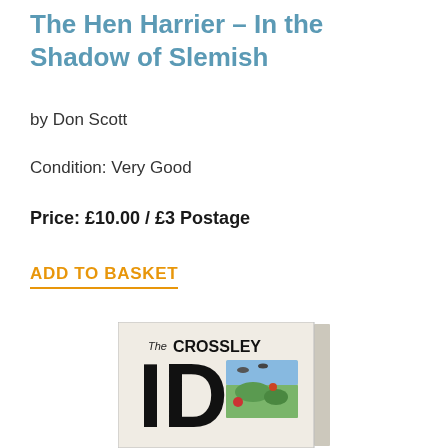The Hen Harrier – In the Shadow of Slemish
by Don Scott
Condition: Very Good
Price: £10.00 / £3 Postage
ADD TO BASKET
[Figure (photo): Photo of a book cover showing 'The CROSSLEY ID' with bird illustrations visible on the cover.]